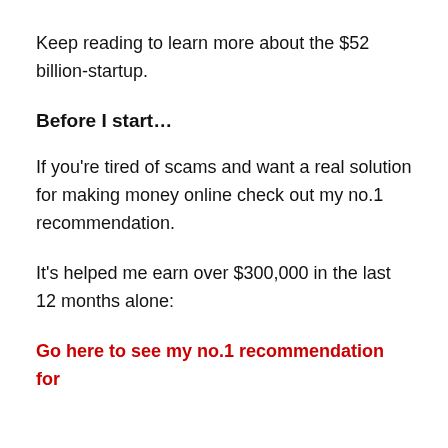Keep reading to learn more about the $52 billion-startup.
Before I start…
If you're tired of scams and want a real solution for making money online check out my no.1 recommendation.
It's helped me earn over $300,000 in the last 12 months alone:
Go here to see my no.1 recommendation for